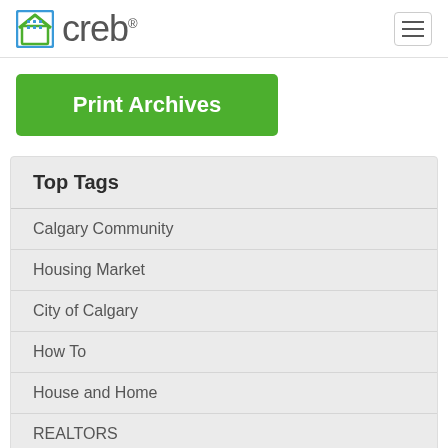creb®
Print Archives
Top Tags
Calgary Community
Housing Market
City of Calgary
How To
House and Home
REALTORS
Surrounding Areas
CMHC